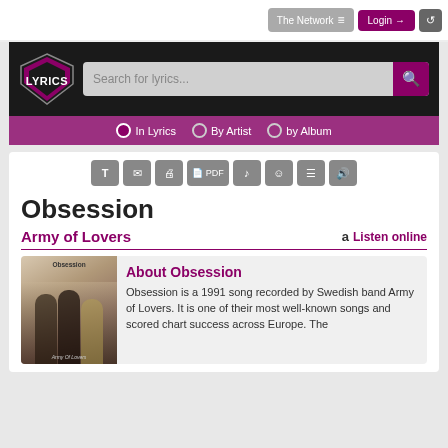The Network   Login
[Figure (screenshot): Lyrics website header with shield logo, search bar, and navigation tabs: In Lyrics, By Artist, by Album]
Obsession
Army of Lovers   Listen online
About Obsession
Obsession is a 1991 song recorded by Swedish band Army of Lovers. It is one of their most well-known songs and scored chart success across Europe. The